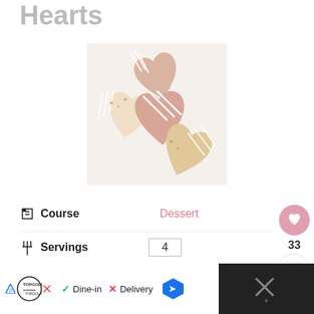Hearts
[Figure (photo): Heart-shaped rice crispy treats dipped in pink chocolate with white drizzle on top, arranged on a white surface.]
Course   Dessert
Servings   4
[Figure (infographic): Advertisement bar: Topgolf logo, Dine-in checkmark, Delivery X, map/navigation icon, and dark panel with X close button and temperature icon.]